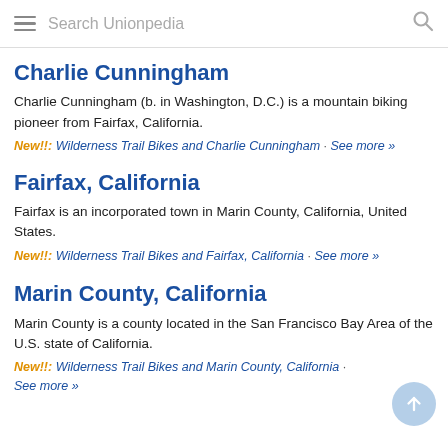Search Unionpedia
Charlie Cunningham
Charlie Cunningham (b. in Washington, D.C.) is a mountain biking pioneer from Fairfax, California.
New!!: Wilderness Trail Bikes and Charlie Cunningham · See more »
Fairfax, California
Fairfax is an incorporated town in Marin County, California, United States.
New!!: Wilderness Trail Bikes and Fairfax, California · See more »
Marin County, California
Marin County is a county located in the San Francisco Bay Area of the U.S. state of California.
New!!: Wilderness Trail Bikes and Marin County, California · See more »